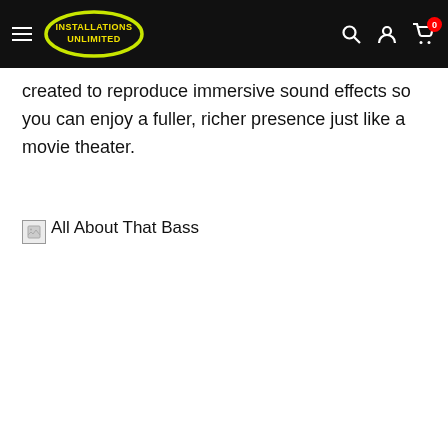Installations Unlimited – navigation header with logo, search, account, and cart icons
created to reproduce immersive sound effects so you can enjoy a fuller, richer presence just like a movie theater.
[Figure (other): Broken image placeholder with alt text 'All About That Bass']